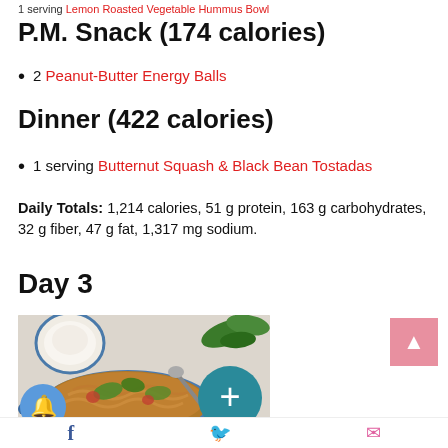1 serving Lemon Roasted Vegetable Hummus Bowl
P.M. Snack (174 calories)
2 Peanut-Butter Energy Balls
Dinner (422 calories)
1 serving Butternut Squash & Black Bean Tostadas
Daily Totals: 1,214 calories, 51 g protein, 163 g carbohydrates, 32 g fiber, 47 g fat, 1,317 mg sodium.
Day 3
[Figure (photo): A pot of rotini pasta dish with greens and tomatoes, with a bowl and basil leaves in background]
Social share icons: Facebook, Twitter, Email